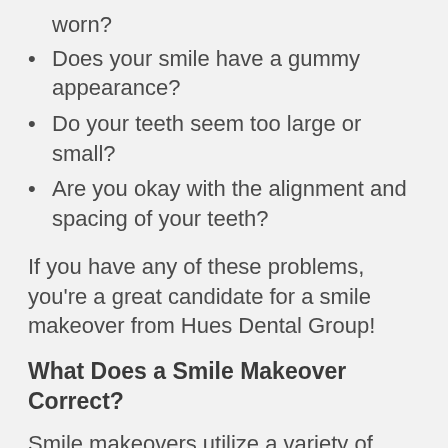worn?
Does your smile have a gummy appearance?
Do your teeth seem too large or small?
Are you okay with the alignment and spacing of your teeth?
If you have any of these problems, you’re a great candidate for a smile makeover from Hues Dental Group!
What Does a Smile Makeover Correct?
Smile makeovers utilize a variety of cosmetic dental procedures to make you feel more confident and better